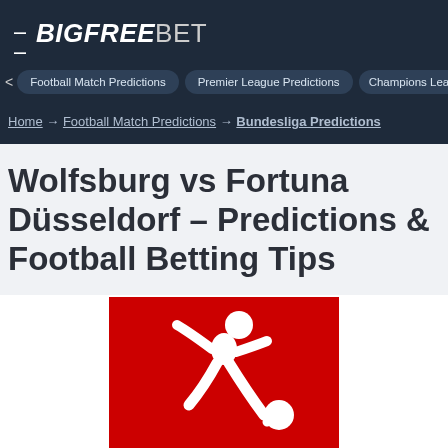BIGFREEBET
< Football Match Predictions   Premier League Predictions   Champions League Predictio>
Home → Football Match Predictions → Bundesliga Predictions
Wolfsburg vs Fortuna Düsseldorf – Predictions & Football Betting Tips
[Figure (logo): Bundesliga logo: white silhouette of a footballer kicking a ball on a red square background]